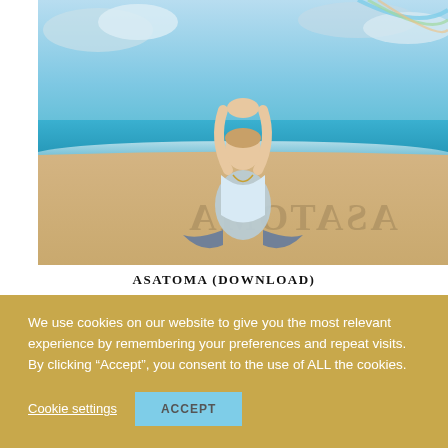[Figure (photo): Woman in white outfit sitting in lotus yoga pose on sandy beach with arms raised overhead, blue ocean and sky in background, text 'ASATOMA' written/mirrored in sand]
ASATOMA (DOWNLOAD)
We use cookies on our website to give you the most relevant experience by remembering your preferences and repeat visits. By clicking “Accept”, you consent to the use of ALL the cookies.
Cookie settings
ACCEPT